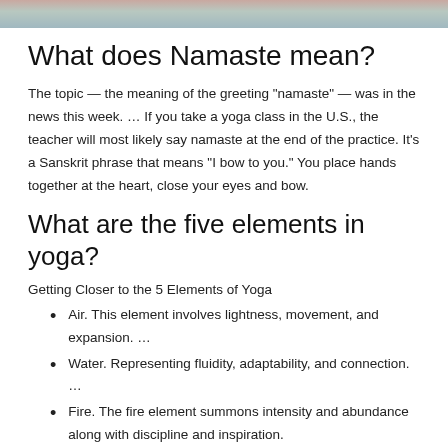[Figure (photo): Partial image strip at the top showing yoga-related photo with pink/teal colors]
What does Namaste mean?
The topic — the meaning of the greeting “namaste” — was in the news this week. … If you take a yoga class in the U.S., the teacher will most likely say namaste at the end of the practice. It’s a Sanskrit phrase that means “I bow to you.” You place hands together at the heart, close your eyes and bow.
What are the five elements in yoga?
Getting Closer to the 5 Elements of Yoga
Air. This element involves lightness, movement, and expansion. …
Water. Representing fluidity, adaptability, and connection. …
Fire. The fire element summons intensity and abundance along with discipline and inspiration.